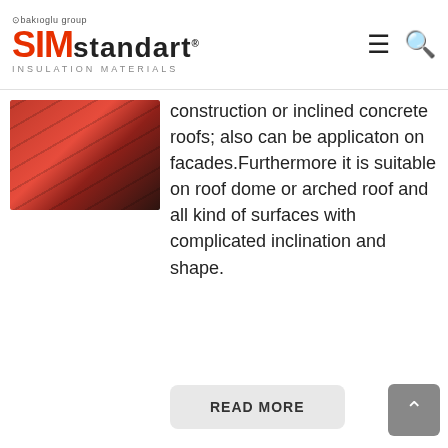bakioglu group | SIM Standart Insulation Materials
[Figure (photo): Red/dark hexagonal shingle roofing tiles pattern]
construction or inclined concrete roofs; also can be applicaton on facades.Furthermore it is suitable on roof dome or arched roof and all kind of surfaces with complicated inclination and shape.
READ MORE
SIM Shingle Effect
[Figure (photo): Orange/tan shingle tiles with dark accent pattern]
Besides, it can be applied to curvilinear surfaces like domes or vaults as well as complex roof